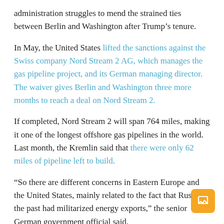administration struggles to mend the strained ties between Berlin and Washington after Trump’s tenure.
In May, the United States lifted the sanctions against the Swiss company Nord Stream 2 AG, which manages the gas pipeline project, and its German managing director. The waiver gives Berlin and Washington three more months to reach a deal on Nord Stream 2.
If completed, Nord Stream 2 will span 764 miles, making it one of the longest offshore gas pipelines in the world. Last month, the Kremlin said that there were only 62 miles of pipeline left to build.
“So there are different concerns in Eastern Europe and the United States, mainly related to the fact that Russia in the past had militarized energy exports,” the senior German government official said.
“We saw it with regard to Georgia and we saw it in the early 2010s when half of South Eastern Europe froze,” the official said, adding that Berlin was aware of the Russian history of using energy to advance a political agenda.